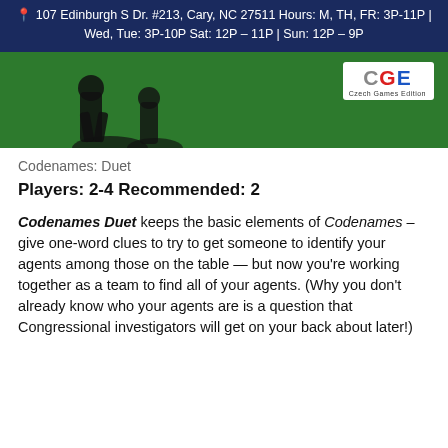107 Edinburgh S Dr. #213, Cary, NC 27511 Hours: M, TH, FR: 3P-11P | Wed, Tue: 3P-10P Sat: 12P – 11P | Sun: 12P – 9P
[Figure (photo): Green background image with dark silhouette figures and Czech Games Edition (CGE) logo in the top right corner]
Codenames: Duet
Players: 2-4 Recommended: 2
Codenames Duet keeps the basic elements of Codenames – give one-word clues to try to get someone to identify your agents among those on the table — but now you're working together as a team to find all of your agents. (Why you don't already know who your agents are is a question that Congressional investigators will get on your back about later!)